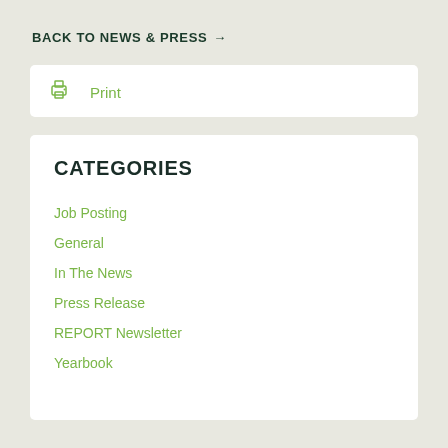BACK TO NEWS & PRESS →
Print
CATEGORIES
Job Posting
General
In The News
Press Release
REPORT Newsletter
Yearbook